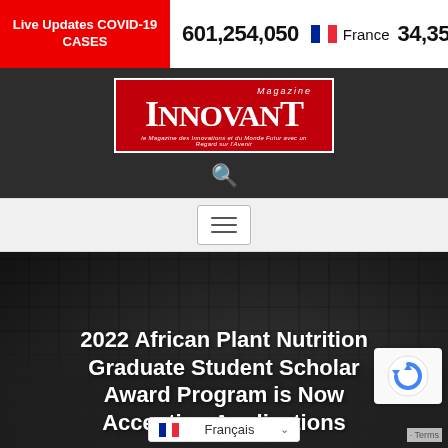Live Updates COVID-19 CASES   601,254,050   France   34,358,62
[Figure (logo): Innovant Magazine logo — red background with white serif text reading INNOVANT, italic 'Magazine' above, French subtitle below]
[Figure (illustration): Search icon (magnifying glass) on dark background]
[Figure (illustration): Hamburger menu button (three horizontal lines) in a white box on light grey background]
2022 African Plant Nutrition Graduate Student Scholar Award Program is Now Accepting Applications
[Figure (illustration): reCAPTCHA badge (blue refresh/recaptcha icon on white background)]
[Figure (illustration): Language selector showing French flag and 'Français' with dropdown arrow]